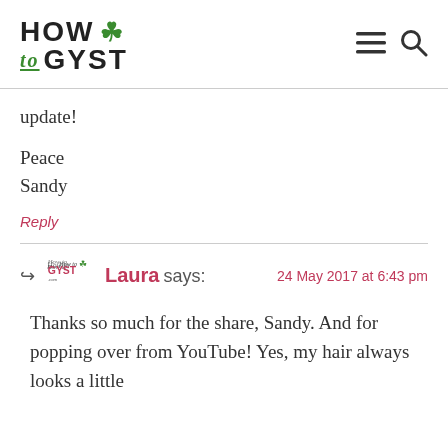HOW to GYST
update!
Peace
Sandy
Reply
Laura says: 24 May 2017 at 6:43 pm
Thanks so much for the share, Sandy. And for popping over from YouTube! Yes, my hair always looks a little